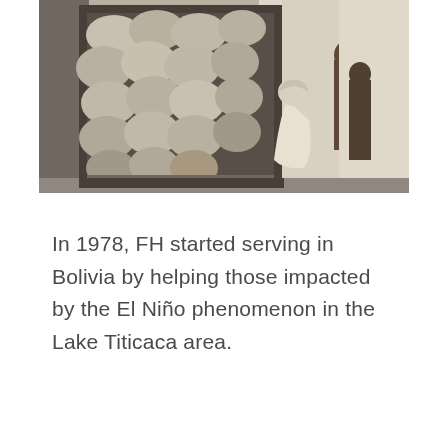[Figure (photo): Black and white photograph showing the back of a truck loaded with sacks/bags of goods. A person wearing a white headscarf or shawl is visible from behind, and another figure stands to the right. The scene appears to be a food aid or supply distribution.]
In 1978, FH started serving in Bolivia by helping those impacted by the El Niño phenomenon in the Lake Titicaca area.